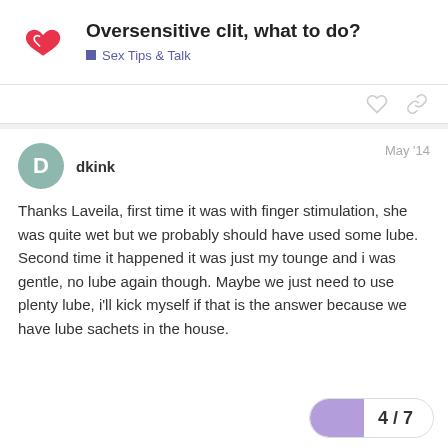Oversensitive clit, what to do?
Sex Tips & Talk
dkink  May '14
Thanks Laveila, first time it was with finger stimulation, she was quite wet but we probably should have used some lube. Second time it happened it was just my tounge and i was gentle, no lube again though. Maybe we just need to use plenty lube, i'll kick myself if that is the answer because we have lube sachets in the house.
4 / 7